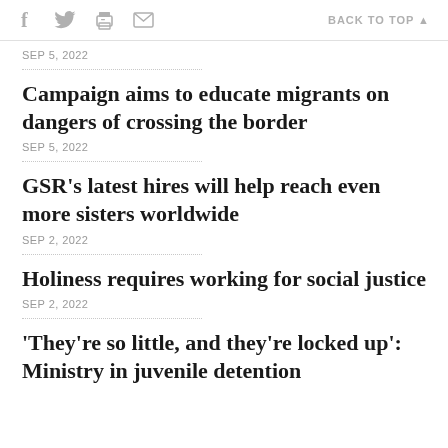Social share icons and BACK TO TOP
SEP 5, 2022
Campaign aims to educate migrants on dangers of crossing the border
SEP 5, 2022
GSR's latest hires will help reach even more sisters worldwide
SEP 2, 2022
Holiness requires working for social justice
SEP 2, 2022
'They're so little, and they're locked up': Ministry in juvenile detention